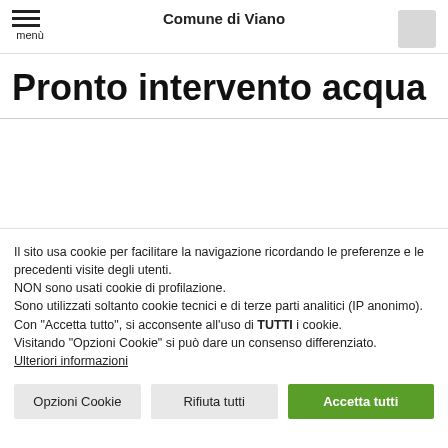Comune di Viano
Pronto intervento acqua
Il sito usa cookie per facilitare la navigazione ricordando le preferenze e le precedenti visite degli utenti.
NON sono usati cookie di profilazione.
Sono utilizzati soltanto cookie tecnici e di terze parti analitici (IP anonimo).
Con "Accetta tutto", si acconsente all'uso di TUTTI i cookie.
Visitando "Opzioni Cookie" si può dare un consenso differenziato.
Ulteriori informazioni
Opzioni Cookie | Rifiuta tutti | Accetta tutti